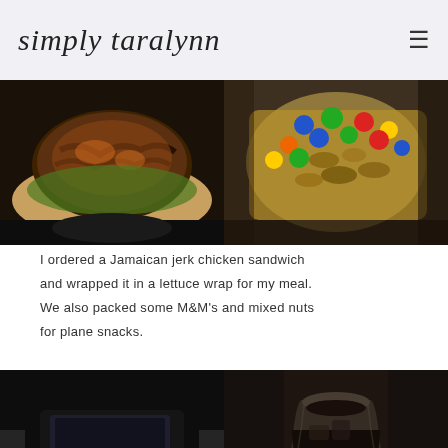simply taralynn
[Figure (photo): Two food photos side by side: left shows a Jamaican jerk chicken sandwich, right shows M&Ms and mixed nuts in a bag]
I ordered a Jamaican jerk chicken sandwich and wrapped it in a lettuce wrap for my meal. We also packed some M&M's and mixed nuts for plane snacks.
[Figure (photo): Two dark photos side by side: left shows a dark scene possibly on a plane, right shows a plastic cup with a dark drink]